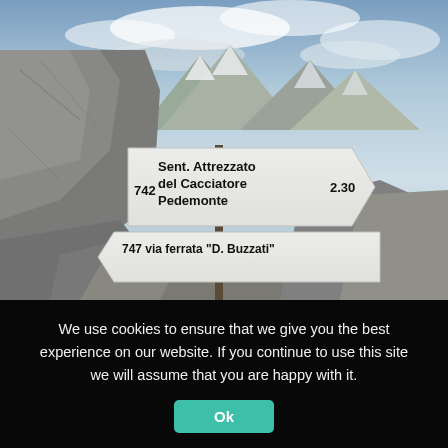[Figure (photo): Mountain trail sign in the Dolomites showing 'Sent. Attrezzato del Cacciatore Pedemonte 2.30' on route 742, and 'via ferrata D. Buzzati' on route 747. Rocky alpine landscape with dramatic mountain peaks and cloudy sky in the background.]
We use cookies to ensure that we give you the best experience on our website. If you continue to use this site we will assume that you are happy with it.
Ok